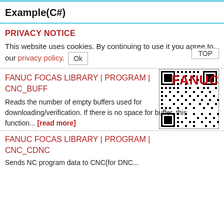Example(C#)
PRIVACY NOTICE
This website uses cookies. By continuing to use it you agree to our privacy policy.
[Figure (other): QR code image]
FANUC FOCAS LIBRARY | PROGRAM | CNC_BUFF
Reads the number of empty buffers used for downloading/verification. If there is no space for buffer, this function... [read more]
FANUC FOCAS LIBRARY | PROGRAM | CNC_CDNC
Sends NC program data to CNC(for DNC...